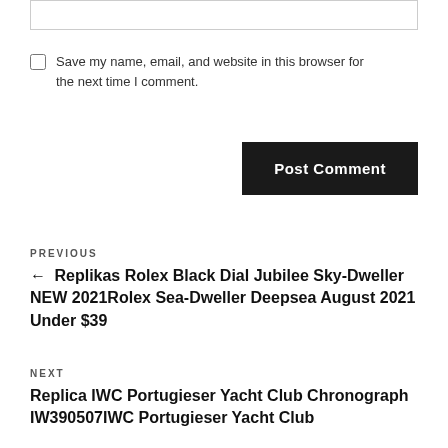[input box]
Save my name, email, and website in this browser for the next time I comment.
Post Comment
PREVIOUS
← Replikas Rolex Black Dial Jubilee Sky-Dweller NEW 2021Rolex Sea-Dweller Deepsea August 2021 Under $39
NEXT
Replica IWC Portugieser Yacht Club Chronograph IW390507IWC Portugieser Yacht Club